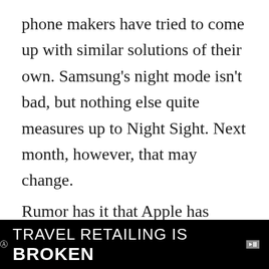phone makers have tried to come up with similar solutions of their own. Samsung's night mode isn't bad, but nothing else quite measures up to Night Sight. Next month, however, that may change.
Rumor has it that Apple has finally cooked up a new night mode of its own, and it will yield impressive results when capturing low-light photos. In fact, knowing Apple, it might end up being even better than Google's Night Sight mode, since Apple typically waits until it has
[Figure (other): Advertisement banner for 'Travel Retailing is BROKEN' on black background with ad choice icon and close button X]